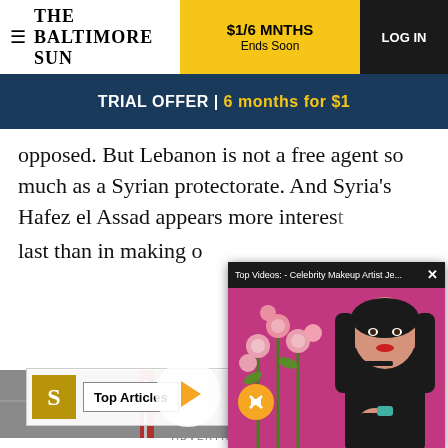THE BALTIMORE SUN | $1/6 MNTHS Ends Soon | LOG IN
TRIAL OFFER | 6 months for $1
opposed. But Lebanon is not a free agent so much as a Syrian protectorate. And Syria's Hafez el Assad appears more interest... last than in making o...
[Figure (screenshot): Video popup overlay showing 'Top Videos: - Celebrity Makeup Artist Je...' with a woman in black against a pink background, with a mute button and play button visible]
[Figure (screenshot): Top Articles section with Slate logo (S) and 'Top Articles' label, overlaid on a background showing American flags in a room]
ADVERTISEMENT